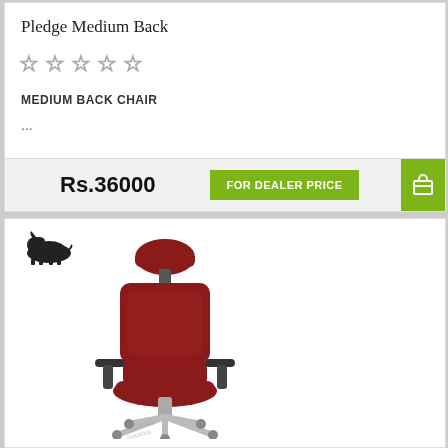Pledge Medium Back
☆ ☆ ☆ ☆ ☆
MEDIUM BACK CHAIR
...
Rs.36000
FOR DEALER PRICE
[Figure (photo): A red high-back mesh office chair with headrest, adjustable armrests, leather seat, and chrome five-star base with casters. Brand logo of a bull/rhino visible in top-left corner of the product card.]